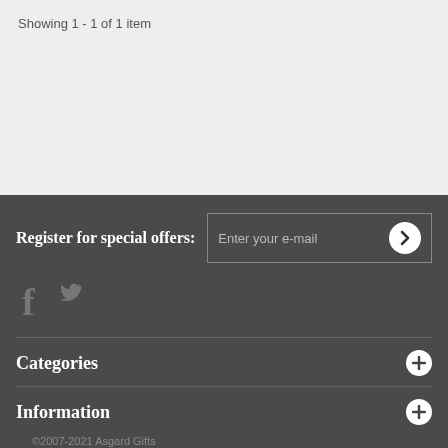Showing 1 - 1 of 1 item
Register for special offers:
Enter your e-mail
[Figure (infographic): Social media icons: Facebook (f) and Twitter (bird)]
Categories
Information
©2007-2021 Asgard Gifts
My account
Secure Site